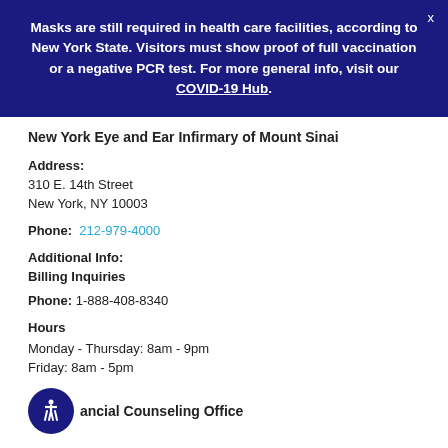Masks are still required in health care facilities, according to New York State. Visitors must show proof of full vaccination or a negative PCR test. For more general info, visit our COVID-19 Hub.
New York Eye and Ear Infirmary of Mount Sinai
Address:
310 E. 14th Street
New York, NY 10003
Phone:  212-979-4000
Additional Info:
Billing Inquiries
Phone: 1-888-408-8340
Hours
Monday - Thursday: 8am - 9pm
Friday: 8am - 5pm
ancial Counseling Office